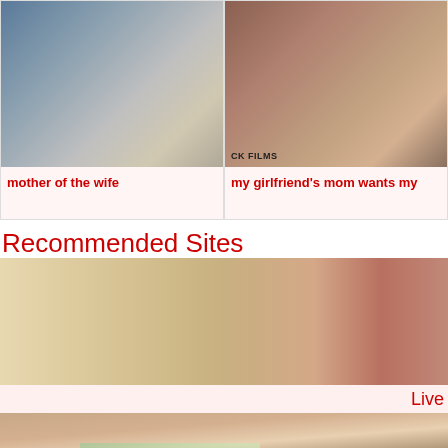[Figure (photo): Thumbnail image for video titled 'mother of the wife']
mother of the wife
[Figure (photo): Thumbnail image for video titled 'my girlfriend's mom wants my']
my girlfriend's mom wants my
Recommended Sites
[Figure (photo): Large thumbnail image for recommended site]
Live
[Figure (photo): Second large thumbnail image for recommended site]